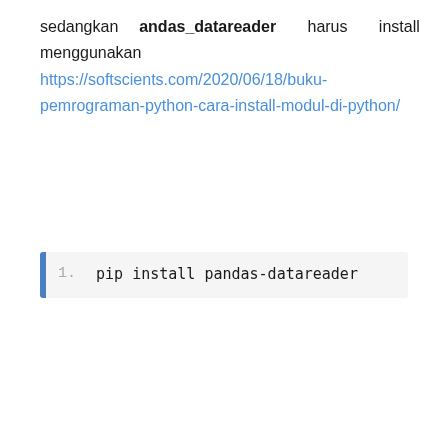sedangkan andas_datareader harus install menggunakan pip https://softscients.com/2020/06/18/buku-pemrograman-python-cara-install-modul-di-python/
pip install pandas-datareader